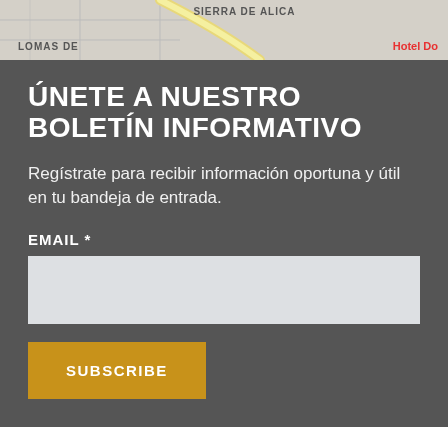[Figure (map): Partial street map showing 'SIERRA DE ALICA', 'LOMAS DE' labels and 'Hotel Do' label in red]
ÚNETE A NUESTRO BOLETÍN INFORMATIVO
Regístrate para recibir información oportuna y útil en tu bandeja de entrada.
EMAIL *
SUBSCRIBE
Copyright © 2017 SUTSEMOP